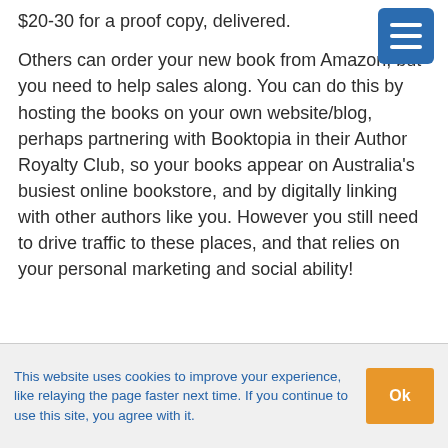$20-30 for a proof copy, delivered.
Others can order your new book from Amazon, but you need to help sales along. You can do this by hosting the books on your own website/blog, perhaps partnering with Booktopia in their Author Royalty Club, so your books appear on Australia’s busiest online bookstore, and by digitally linking with other authors like you. However you still need to drive traffic to these places, and that relies on your personal marketing and social ability!
This website uses cookies to improve your experience, like relaying the page faster next time. If you continue to use this site, you agree with it.